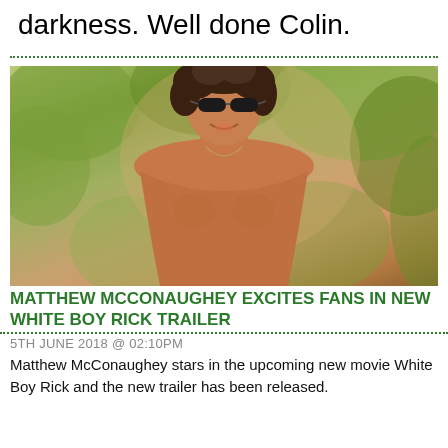darkness. Well done Colin.
[Figure (photo): Shirtless man with sunglasses and curly dark hair smiling outdoors with green foliage in the background]
MATTHEW MCCONAUGHEY EXCITES FANS IN NEW WHITE BOY RICK TRAILER
5TH JUNE 2018 @ 02:10PM
Matthew McConaughey stars in the upcoming new movie White Boy Rick and the new trailer has been released.